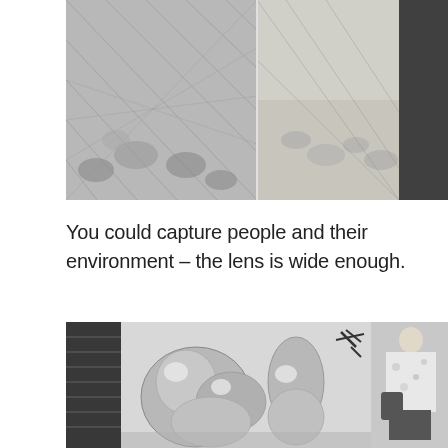[Figure (photo): Black and white photograph showing chain-link fence with stones/rubble visible through it, split into two panels side by side. A person in dark clothing is visible on the right edge.]
You could capture people and their environment – the lens is wide enough.
[Figure (photo): Black and white photograph of a person in a floral shirt with a bag, standing in front of a wall mural featuring large metallic balloon-like sculptural graffiti characters.]